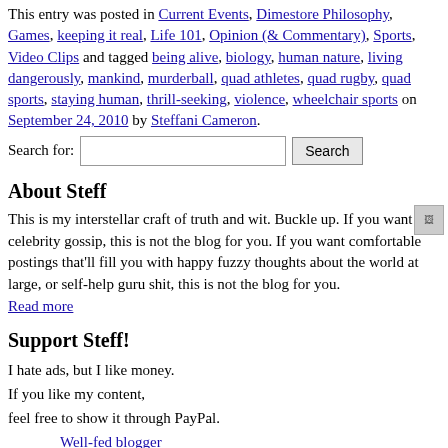This entry was posted in Current Events, Dimestore Philosophy, Games, keeping it real, Life 101, Opinion (Editorial & Commentary), Sports, Video Clips and tagged being alive, biology, human nature, living dangerously, mankind, murderball, quad athletes, quad rugby, quad sports, staying human, thrill-seeking, violence, wheelchair sports on September 24, 2010 by Steffani Cameron.
Search for: [search input] [Search button]
About Steff
This is my interstellar craft of truth and wit. Buckle up. If you want celebrity gossip, this is not the blog for you. If you want comfortable postings that'll fill you with happy fuzzy thoughts about the world at large, or self-help guru shit, this is not the blog for you.
Read more
Support Steff!
I hate ads, but I like money.
If you like my content,
feel free to show it through PayPal.
Well-fed blogger